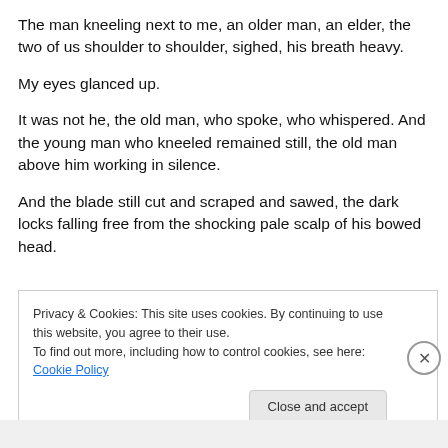The man kneeling next to me, an older man, an elder, the two of us shoulder to shoulder, sighed, his breath heavy.
My eyes glanced up.
It was not he, the old man, who spoke, who whispered. And the young man who kneeled remained still, the old man above him working in silence.
And the blade still cut and scraped and sawed, the dark locks falling free from the shocking pale scalp of his bowed head.
Privacy & Cookies: This site uses cookies. By continuing to use this website, you agree to their use.
To find out more, including how to control cookies, see here: Cookie Policy
Close and accept